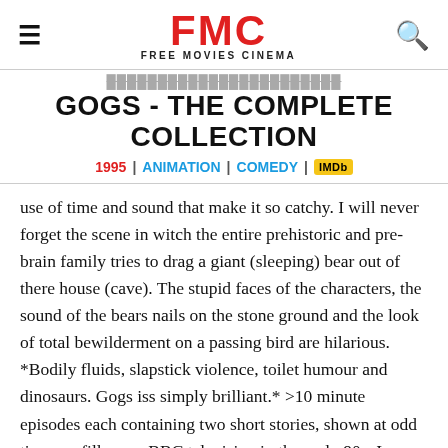FMC FREE MOVIES CINEMA
GOGS - THE COMPLETE COLLECTION
1995 | ANIMATION | COMEDY | IMDb
use of time and sound that make it so catchy. I will never forget the scene in witch the entire prehistoric and pre-brain family tries to drag a giant (sleeping) bear out of there house (cave). The stupid faces of the characters, the sound of the bears nails on the stone ground and the look of total bewilderment on a passing bird are hilarious. *Bodily fluids, slapstick violence, toilet humour and dinosaurs. Gogs iss simply brilliant.* >10 minute episodes each containing two short stories, shown at odd times as fillers on BBC television in the early 90s. I never get tired of watching Gogs, and it still makes me laugh – the clay figures lend